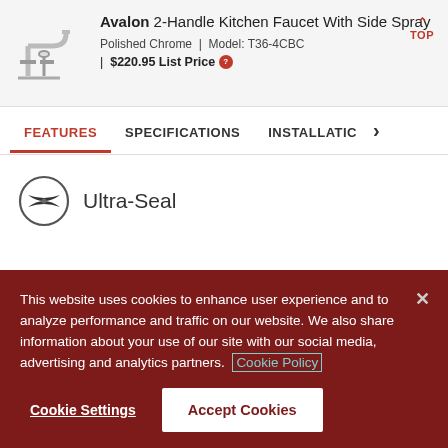Avalon 2-Handle Kitchen Faucet With Side Spray
Polished Chrome | Model: T36-4CBC | $220.95 List Price
FEATURES | SPECIFICATIONS | INSTALLATIC
[Figure (logo): Ultra-Seal icon: circular emblem with bowtie/butterfly graphic]
Ultra-Seal
This website uses cookies to enhance user experience and to analyze performance and traffic on our website. We also share information about your use of our site with our social media, advertising and analytics partners. Cookie Policy
Cookie Settings
Accept Cookies